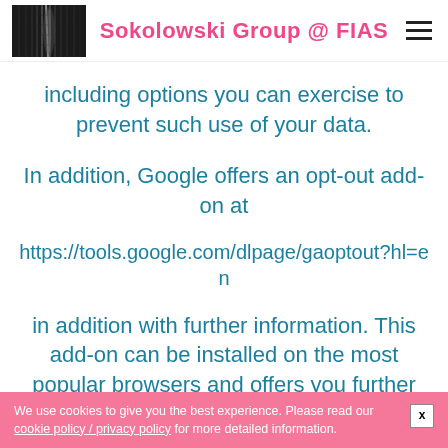Sokolowski Group @ FIAS
including options you can exercise to prevent such use of your data.
In addition, Google offers an opt-out add-on at
https://tools.google.com/dlpage/gaoptout?hl=en
in addition with further information. This add-on can be installed on the most popular browsers and offers you further control over what data Google collects when you
We use cookies to give you the best experience. Please read our cookie policy / privacy policy for more detailed information.